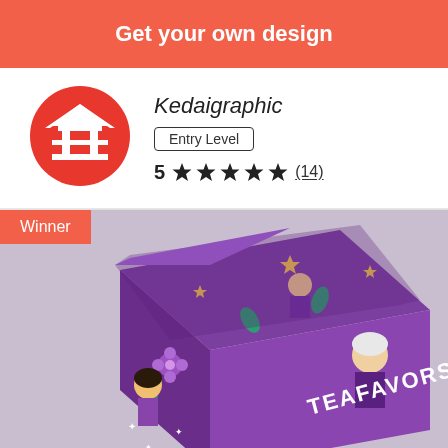Get your own design
Kedaigraphic
Entry Level
5 ★★★★★ (14)
Winner
[Figure (photo): A purple illustrated gift box with decorative Asian-themed illustrations and 'TEAFAVORS' text, shown open on a light purple background.]